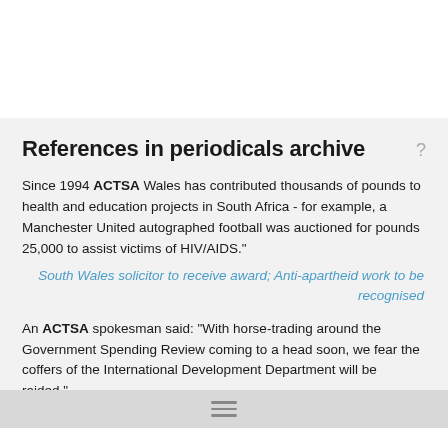References in periodicals archive
Since 1994 ACTSA Wales has contributed thousands of pounds to health and education projects in South Africa - for example, a Manchester United autographed football was auctioned for pounds 25,000 to assist victims of HIV/AIDS."
South Wales solicitor to receive award; Anti-apartheid work to be recognised
An ACTSA spokesman said: "With horse-trading around the Government Spending Review coming to a head soon, we fear the coffers of the International Development Department will be raided."
Call for pounds 1bn pledge
Pressure group ACTSA (Action for Southern Africa) has led the public